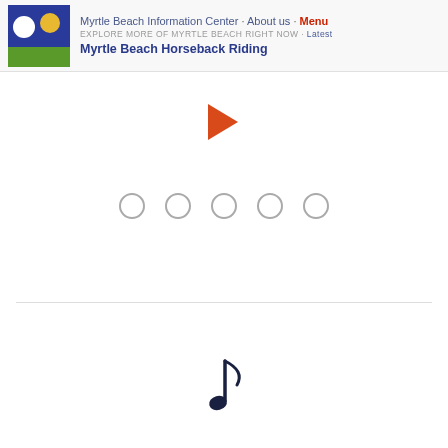Myrtle Beach Information Center · About us · Menu
EXPLORE MORE OF MYRTLE BEACH RIGHT NOW · Latest
Myrtle Beach Horseback Riding
[Figure (illustration): Orange right-pointing chevron/arrow icon]
[Figure (illustration): Five empty circle indicators (carousel dots)]
[Figure (illustration): Musical note icon (eighth note) in dark navy color]